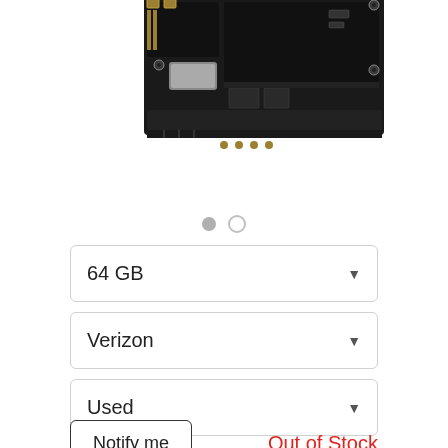[Figure (photo): Photograph of an iPhone logic board / motherboard circuit, showing black PCB with gold connectors and electronic components, cropped at top with partial view]
64 GB
Verizon
Used
Notify me
Out of Stock